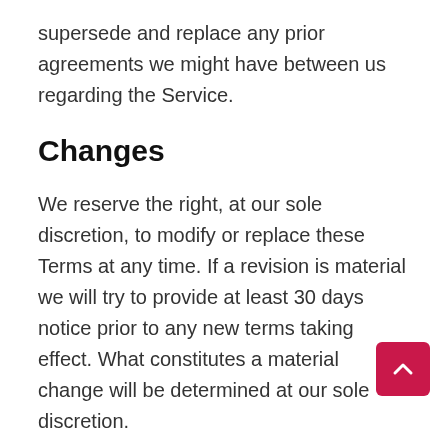supersede and replace any prior agreements we might have between us regarding the Service.
Changes
We reserve the right, at our sole discretion, to modify or replace these Terms at any time. If a revision is material we will try to provide at least 30 days notice prior to any new terms taking effect. What constitutes a material change will be determined at our sole discretion.
By continuing to access or use our Service after those revisions become effective, you agree to bound by the revised terms. If you do not agree to the new terms, please stop using the Service.